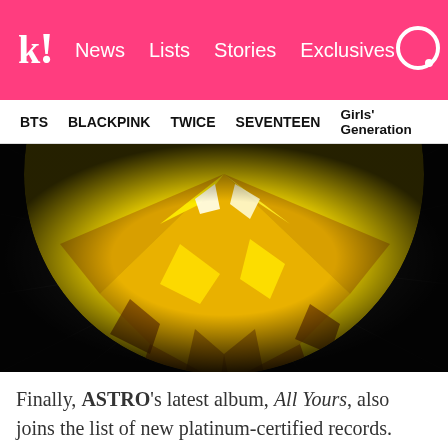k! News Lists Stories Exclusives
BTS BLACKPINK TWICE SEVENTEEN Girls' Generation
[Figure (photo): Close-up photograph of a yellow/golden round-cut gemstone (diamond) on a dark textured background]
Finally, ASTRO's latest album, All Yours, also joins the list of new platinum-certified records. Released on April 5 of this year, it has now reached just around 360k total sales since it